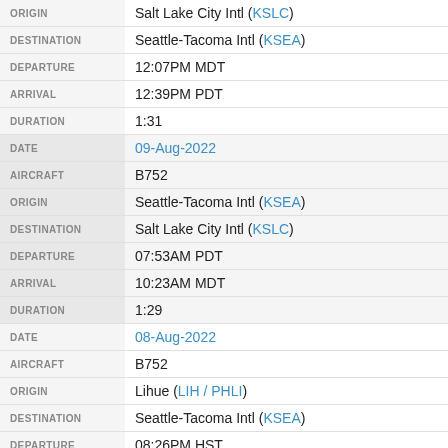| Field | Value |
| --- | --- |
| ORIGIN | Salt Lake City Intl (KSLC) |
| DESTINATION | Seattle-Tacoma Intl (KSEA) |
| DEPARTURE | 12:07PM MDT |
| ARRIVAL | 12:39PM PDT |
| DURATION | 1:31 |
| DATE | 09-Aug-2022 |
| AIRCRAFT | B752 |
| ORIGIN | Seattle-Tacoma Intl (KSEA) |
| DESTINATION | Salt Lake City Intl (KSLC) |
| DEPARTURE | 07:53AM PDT |
| ARRIVAL | 10:23AM MDT |
| DURATION | 1:29 |
| DATE | 08-Aug-2022 |
| AIRCRAFT | B752 |
| ORIGIN | Lihue (LIH / PHLI) |
| DESTINATION | Seattle-Tacoma Intl (KSEA) |
| DEPARTURE | 08:26PM HST |
| ARRIVAL | 04:28AM PDT (+1) |
| DURATION | 5:01 |
| DATE | 08-Aug-2022 |